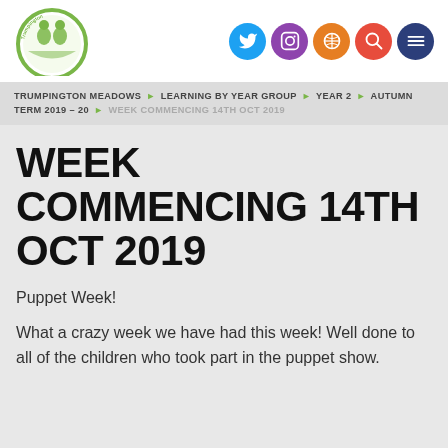[Figure (logo): Trumpington Meadows Primary School circular logo with two figures and green ring]
[Figure (infographic): Row of 5 social media / navigation icon circles: Twitter (blue), Instagram (purple), Globe (orange), Search (red), Menu (dark blue)]
TRUMPINGTON MEADOWS ▶ LEARNING BY YEAR GROUP ▶ YEAR 2 ▶ AUTUMN TERM 2019 – 20 ▶ WEEK COMMENCING 14TH OCT 2019
WEEK COMMENCING 14TH OCT 2019
Puppet Week!
What a crazy week we have had this week! Well done to all of the children who took part in the puppet show.